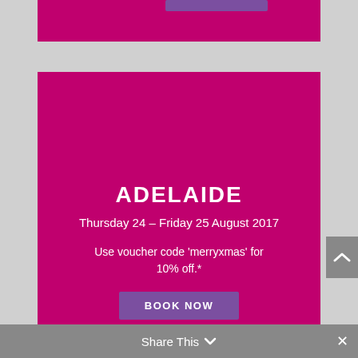[Figure (other): Top partial magenta banner with a purple button strip at the top]
[Figure (infographic): Main magenta promotional card for Adelaide event]
ADELAIDE
Thursday 24 – Friday 25 August 2017
Use voucher code 'merryxmas' for 10% off.*
BOOK NOW
Share This ∨